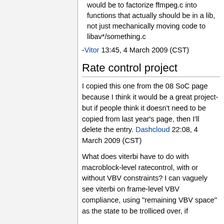Note: The tricky part of this project would be to factorize ffmpeg.c into functions that actually should be in a lib, not just mechanically moving code to libav*/something.c
-Vitor 13:45, 4 March 2009 (CST)
Rate control project
I copied this one from the 08 SoC page because I think it would be a great project- but if people think it doesn't need to be copied from last year's page, then I'll delete the entry. Dashcloud 22:08, 4 March 2009 (CST)
What does viterbi have to do with macroblock-level ratecontrol, with or without VBV constraints? I can vaguely see viterbi on frame-level VBV compliance, using "remaining VBV space" as the state to be trolliced over, if